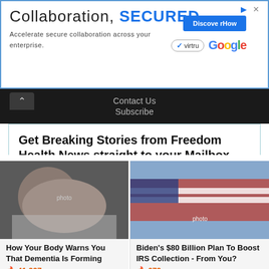[Figure (other): Advertisement banner: 'Collaboration, SECURED.' with Virtru and Google logos and a 'Discover How' button]
Contact Us
Subscribe
Get Breaking Stories from Freedom Health News straight to your Mailbox
Email *
First Name
[Figure (photo): Person sitting on bed looking downward, possibly elderly]
[Figure (photo): American flag waving against blue sky]
How Your Body Warns You That Dementia Is Forming
🔥 41,227
Biden's $80 Billion Plan To Boost IRS Collection - From You?
🔥 679